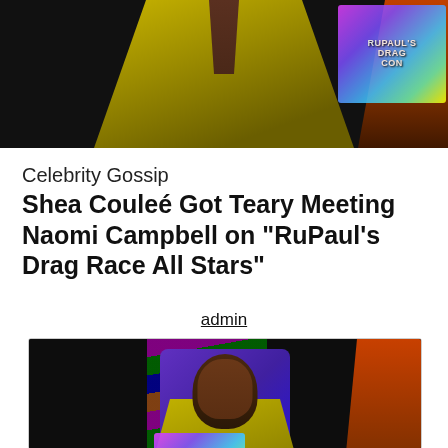[Figure (photo): Top cropped photo of a person wearing yellow-green outfit with gold chain necklace and large dangling earrings at what appears to be RuPaul's DragCon event]
Celebrity Gossip
Shea Couleé Got Teary Meeting Naomi Campbell on “RuPaul’s Drag Race All Stars”
admin
[Figure (photo): Photo of Shea Couleé wearing yellow-green strapless outfit with gold chain necklace and large ivory/bone earrings at RuPaul's DragCon event, with House of Love neon heart sign and colorful striped banner visible in background]